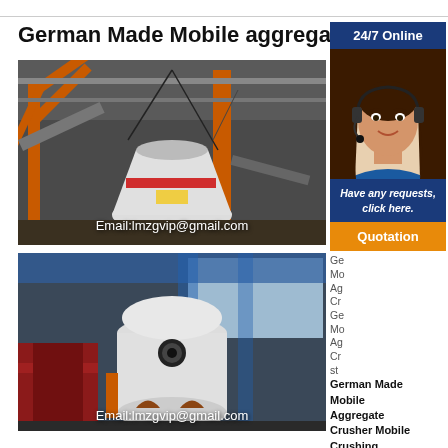German Made Mobile aggregate
[Figure (photo): Industrial cone crusher machine in a factory setting with orange steel frame structure, white crusher body, conveyor belts, and industrial ceiling. Email:lmzgvip@gmail.com overlay at bottom.]
[Figure (photo): Industrial vertical shaft impact crusher (VSI) machine, white body, in a factory/warehouse setting with blue metal structure. Email:lmzgvip@gmail.com overlay at bottom.]
[Figure (photo): Customer service agent: young woman with headset smiling, wearing blue top, photo used in 24/7 Online support widget.]
24/7 Online
Have any requests, click here.
Quotation
Ge
Mo
Ag
Cr
Ge
Mo
Ag
Cr
st
German Made
Mobile
Aggregate
Crusher Mobile
Crushing
Station
Crushing Stone